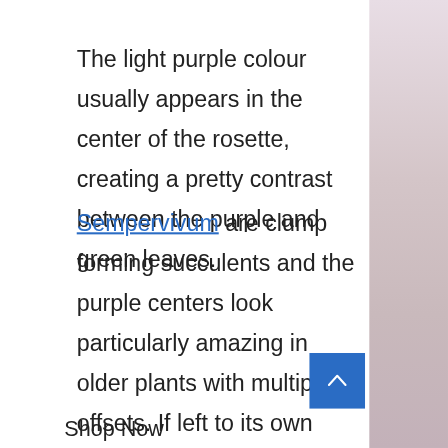The light purple colour usually appears in the center of the rosette, creating a pretty contrast between the purple and green leaves.
Sempervivum are clump forming succulents and the purple centers look particularly amazing in older plants with multiple offsets. If left to its own devices, Sempervivum will create a carpet of rosettes.
Shop Now